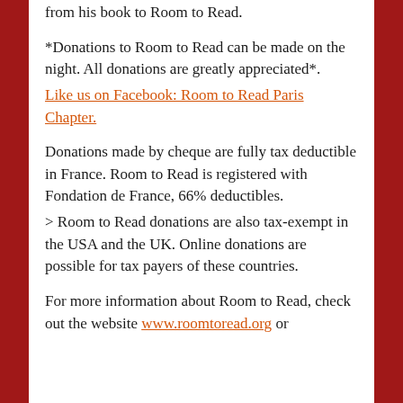from his book to Room to Read.
*Donations to Room to Read can be made on the night. All donations are greatly appreciated*.
Like us on Facebook: Room to Read Paris Chapter.
Donations made by cheque are fully tax deductible in France. Room to Read is registered with Fondation de France, 66% deductibles.
> Room to Read donations are also tax-exempt in the USA and the UK. Online donations are possible for tax payers of these countries.
For more information about Room to Read, check out the website www.roomtoread.org or